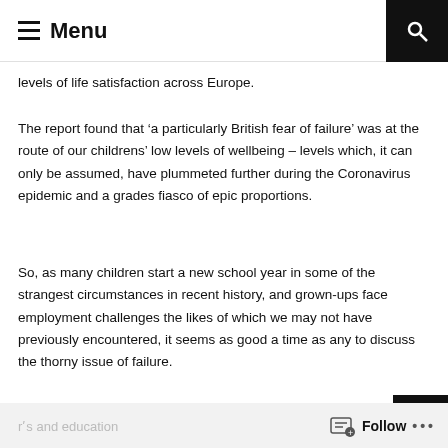Menu
levels of life satisfaction across Europe.
The report found that ‘a particularly British fear of failure’ was at the route of our childrens’ low levels of wellbeing – levels which, it can only be assumed, have plummeted further during the Coronavirus epidemic and a grades fiasco of epic proportions.
So, as many children start a new school year in some of the strangest circumstances in recent history, and grown-ups face employment challenges the likes of which we may not have previously encountered, it seems as good a time as any to discuss the thorny issue of failure.
Follow •••